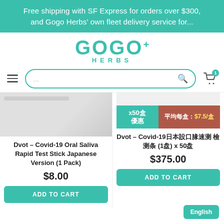Free shipping with SF Express for orders over $300, and Gogo Herbs' own fleet delivery service for...
[Figure (logo): Gogo Herbs logo with GOGO+ in teal block letters and HERBS below in teal]
[Figure (screenshot): Search bar with teal border, hamburger menu icon, and shopping cart icon with badge showing 1]
Dvot – Covid-19 Oral Saliva Rapid Test Stick Japanese Version (1 Pack)
$8.00
ADD TO CART
[Figure (infographic): Promotional badge showing x50盒 優惠 in teal and 平均每盒：$7.5/盒 in brown-red with yellow price]
Dvot – Covid-19🅱🅱🅱🅱🅱 🅱🅱🅱🅱🅱🅱🅱🅱 🅱🅱 (1🅱🅱) x 50🅱
$375.00
ADD TO CART
English